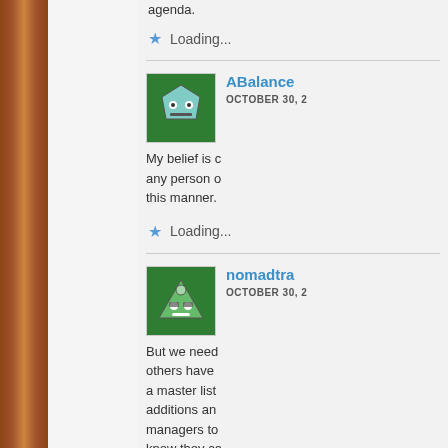agenda.
Loading...
ABalance
OCTOBER 30, 2
My belief is c any person c this manner.
Loading...
[Figure (illustration): Green avatar with pentagon face character]
nomadtra
OCTOBER 30, 2
But we need others have a master list additions an managers to know they ca events, with
[Figure (illustration): Green avatar with triangle/mountain character with sunglasses]